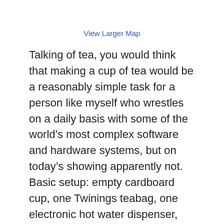View Larger Map
Talking of tea, you would think that making a cup of tea would be a reasonably simple task for a person like myself who wrestles on a daily basis with some of the world’s most complex software and hardware systems, but on today’s showing apparently not. Basic setup: empty cardboard cup, one Twinings teabag, one electronic hot water dispenser, one milk urn. Sufficiently-well briefed monkeys could form a suitable workflow for the end result without too many problems. That it, unless you add me into the equation.
The first cup was going well: water had been dispensed, teabag had been successfully swilled around and disposed-of and I was adding milk. Unfortunately,